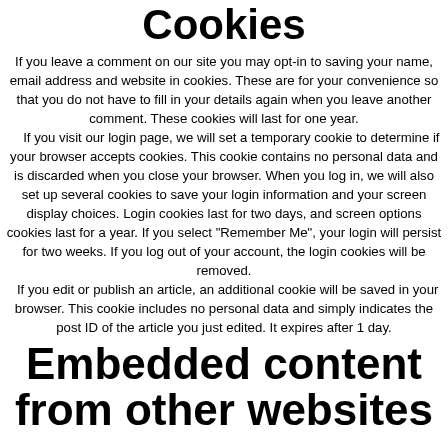Cookies
If you leave a comment on our site you may opt-in to saving your name, email address and website in cookies. These are for your convenience so that you do not have to fill in your details again when you leave another comment. These cookies will last for one year.
    If you visit our login page, we will set a temporary cookie to determine if your browser accepts cookies. This cookie contains no personal data and is discarded when you close your browser. When you log in, we will also set up several cookies to save your login information and your screen display choices. Login cookies last for two days, and screen options cookies last for a year. If you select "Remember Me", your login will persist for two weeks. If you log out of your account, the login cookies will be removed.
    If you edit or publish an article, an additional cookie will be saved in your browser. This cookie includes no personal data and simply indicates the post ID of the article you just edited. It expires after 1 day.
Embedded content from other websites